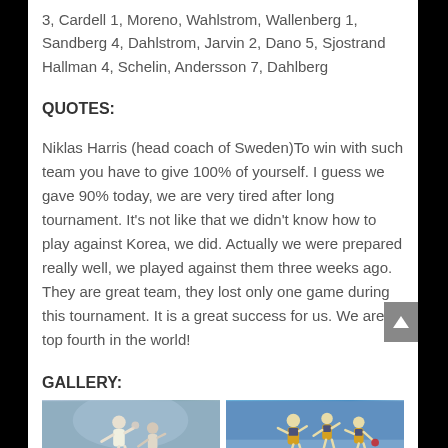3, Cardell 1, Moreno, Wahlstrom, Wallenberg 1, Sandberg 4, Dahlstrom, Jarvin 2, Dano 5, Sjostrand Hallman 4, Schelin, Andersson 7, Dahlberg
QUOTES:
Niklas Harris (head coach of Sweden)To win with such team you have to give 100% of yourself. I guess we gave 90% today, we are very tired after long tournament. It's not like that we didn't know how to play against Korea, we did. Actually we were prepared really well, we played against them three weeks ago. They are great team, they lost only one game during this tournament. It is a great success for us. We are in top fourth in the world!
GALLERY:
[Figure (photo): Two gallery photos showing handball players]